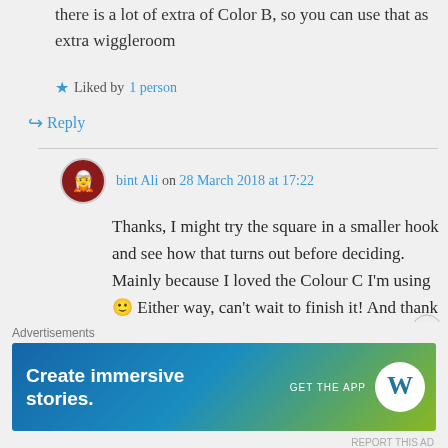there is a lot of extra of Color B, so you can use that as extra wiggleroom
★ Liked by 1 person
↪ Reply
bint Ali on 28 March 2018 at 17:22
Thanks, I might try the square in a smaller hook and see how that turns out before deciding. Mainly because I loved the Colour C I'm using 🙂 Either way, can't wait to finish it! And thank you 🙂
Advertisements
[Figure (screenshot): WordPress advertisement banner: 'Create immersive stories.' with GET THE APP button and WordPress logo]